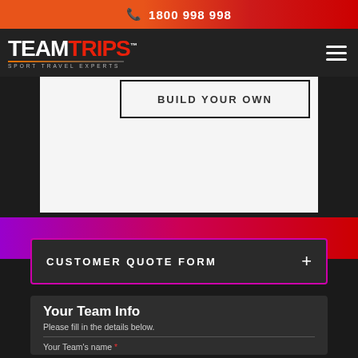1800 998 998
[Figure (logo): TEAMTRIPS Sport Travel Experts logo in white and red]
Team Trip package!
BUILD YOUR OWN
CUSTOMER QUOTE FORM +
Your Team Info
Please fill in the details below.
Your Team's name *